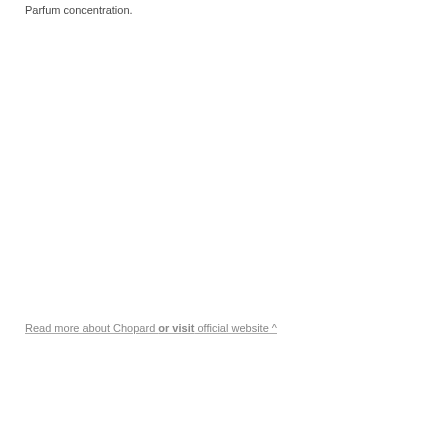Parfum concentration.
Read more about Chopard or visit official website ^